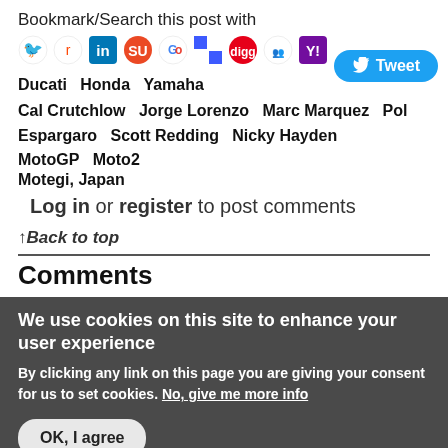Bookmark/Search this post with
[Figure (infographic): Social media sharing icons: Twitter, Reddit, LinkedIn, StumbleUpon, Google, Delicious, Digg, MySpace, Yahoo]
Ducati   Honda   Yamaha
Cal Crutchlow   Jorge Lorenzo   Marc Marquez   Pol Espargaro   Scott Redding   Nicky Hayden
MotoGP   Moto2
Motegi, Japan
Log in or register to post comments
↑Back to top
Comments
We use cookies on this site to enhance your user experience
By clicking any link on this page you are giving your consent for us to set cookies. No, give me more info
OK, I agree